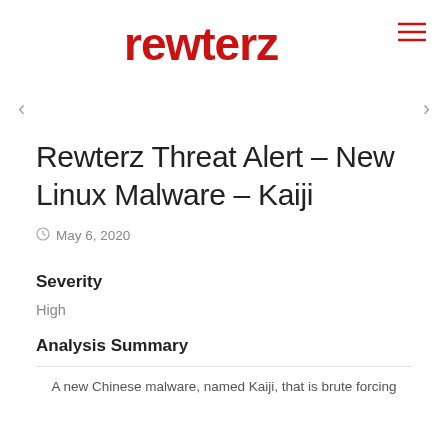rewterz
Rewterz Threat Alert – New Linux Malware – Kaiji
May 6, 2020
Severity
High
Analysis Summary
A new Chinese malware, named Kaiji, that is brute forcing